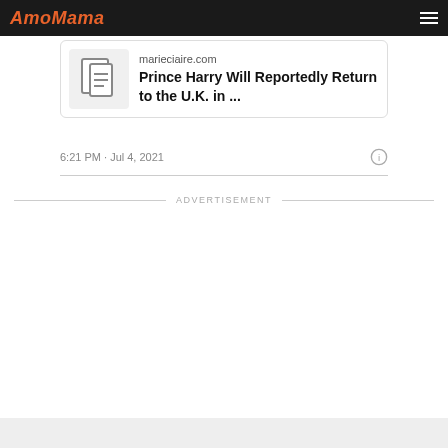AmoMama
[Figure (screenshot): News card with document icon showing article from marieciaire.com titled 'Prince Harry Will Reportedly Return to the U.K. in ...']
6:21 PM · Jul 4, 2021
ADVERTISEMENT